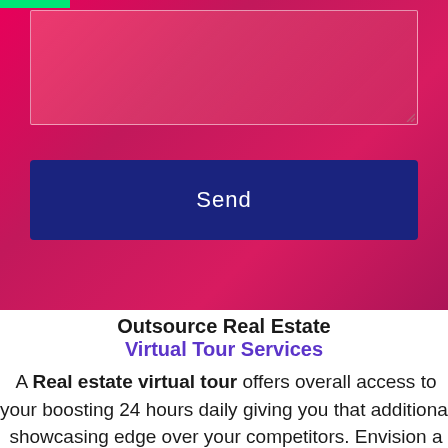[Figure (screenshot): Pink/magenta gradient background section with a textarea input box and a dark navy blue Send button]
Outsource Real Estate Virtual Tour Services
A Real estate virtual tour offers overall access to your boosting 24 hours daily giving you that additional showcasing edge over your competitors. Envision a reality where at some random time, your assignment is working for you. You can save money, depending on the open house system. And you can demonstrate your potential clients how far you are eager to go to enable them to settle on the correct decision on their new condo or a house. Very soon, a large portion of the real estate companies will have a virtual visit as an